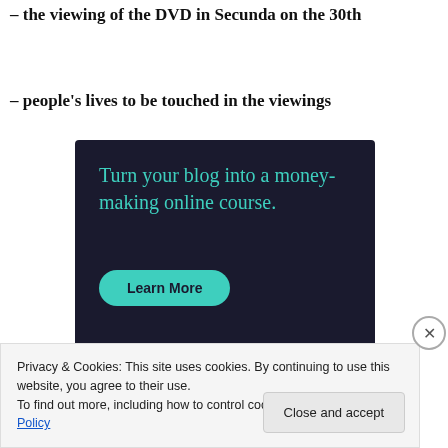– the viewing of the DVD in Secunda on the 30th
– people's lives to be touched in the viewings
[Figure (infographic): Dark navy advertisement banner with teal text reading 'Turn your blog into a money-making online course.' and a teal 'Learn More' button]
Privacy & Cookies: This site uses cookies. By continuing to use this website, you agree to their use.
To find out more, including how to control cookies, see here: Cookie Policy
Close and accept